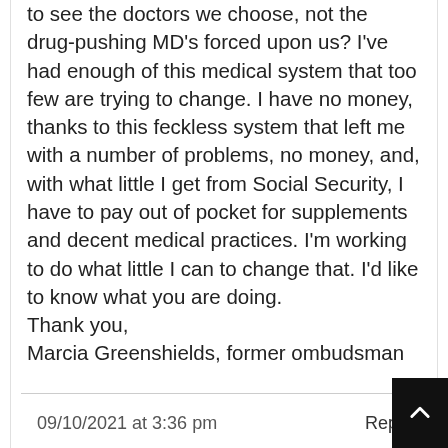to see the doctors we choose, not the drug-pushing MD's forced upon us? I've had enough of this medical system that too few are trying to change. I have no money, thanks to this feckless system that left me with a number of problems, no money, and, with what little I get from Social Security, I have to pay out of pocket for supplements and decent medical practices. I'm working to do what little I can to change that. I'd like to know what you are doing.
Thank you,
Marcia Greenshields, former ombudsman
09/10/2021 at 3:36 pm   Reply